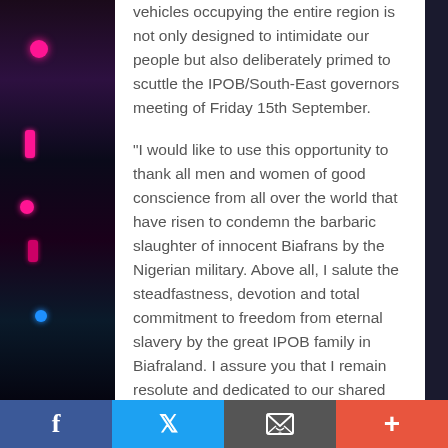vehicles occupying the entire region is not only designed to intimidate our people but also deliberately primed to scuttle the IPOB/South-East governors meeting of Friday 15th September.
"I would like to use this opportunity to thank all men and women of good conscience from all over the world that have risen to condemn the barbaric slaughter of innocent Biafrans by the Nigerian military. Above all, I salute the steadfastness, devotion and total commitment to freedom from eternal slavery by the great IPOB family in Biafraland. I assure you that I remain resolute and dedicated to our shared vision of freedom regardless of the cost and visionless antics of the mindless oppressor.
"We have since crossed the Red Sea and arrived
Facebook | Twitter | Email | +